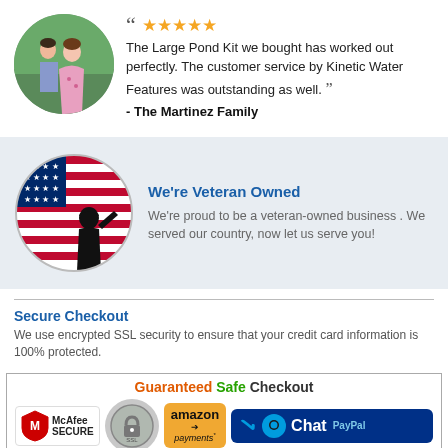[Figure (photo): Circular avatar photo of a couple outdoors (man and woman)]
“ ★★★★★ The Large Pond Kit we bought has worked out perfectly. The customer service by Kinetic Water Features was outstanding as well. ” - The Martinez Family
[Figure (illustration): Circular illustration of a soldier silhouette saluting in front of an American flag]
We're Veteran Owned
We're proud to be a veteran-owned business . We served our country, now let us serve you!
Secure Checkout
We use encrypted SSL security to ensure that your credit card information is 100% protected.
[Figure (infographic): Guaranteed Safe Checkout banner with McAfee SECURE, SSL badge, Amazon payments, PayPal and Chat logos]